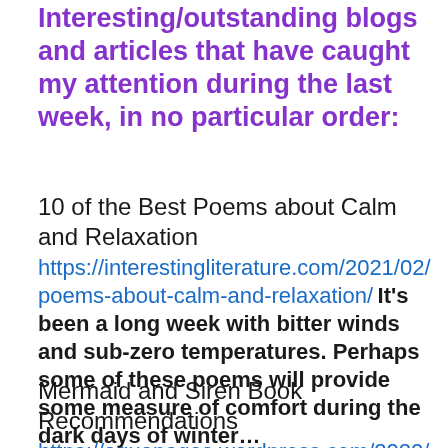Interesting/outstanding blogs and articles that have caught my attention during the last week, in no particular order:
10 of the Best Poems about Calm and Relaxation
https://interestingliterature.com/2021/02/poems-about-calm-and-relaxation/ It's been a long week with bitter winds and sub-zero temperatures. Perhaps some of these poems will provide some measure of comfort during the dark days of winter…
Mermaid and Siren Book Recommendations
https://aquapages.wordpress.com/2020/04/21/